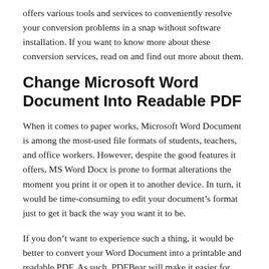offers various tools and services to conveniently resolve your conversion problems in a snap without software installation. If you want to know more about these conversion services, read on and find out more about them.
Change Microsoft Word Document Into Readable PDF
When it comes to paper works, Microsoft Word Document is among the most-used file formats of students, teachers, and office workers. However, despite the good features it offers, MS Word Docx is prone to format alterations the moment you print it or open it to another device. In turn, it would be time-consuming to edit your document’s format just to get it back the way you want it to be.
If you don’t want to experience such a thing, it would be better to convert your Word Document into a printable and readable PDF. As such, PDFBear will make it easier for you to do this task. This platform’s Docx to PDF tool contains a simplified